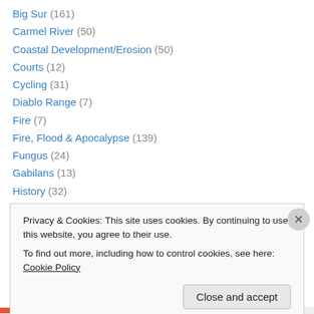Big Sur (161)
Carmel River (50)
Coastal Development/Erosion (50)
Courts (12)
Cycling (31)
Diablo Range (7)
Fire (7)
Fire, Flood & Apocalypse (139)
Fungus (24)
Gabilans (13)
History (32)
Insects (14)
Living Wage (3)
Privacy & Cookies: This site uses cookies. By continuing to use this website, you agree to their use.
To find out more, including how to control cookies, see here: Cookie Policy
Close and accept